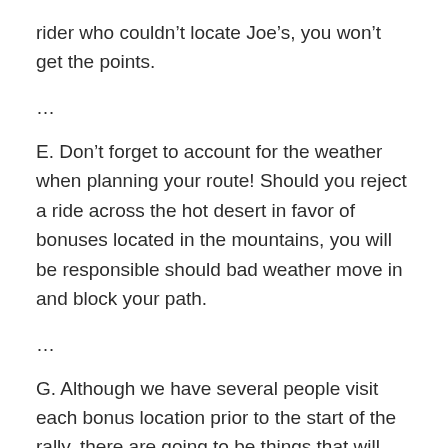rider who couldn't locate Joe's, you won't get the points.
…
E. Don't forget to account for the weather when planning your route! Should you reject a ride across the hot desert in favor of bonuses located in the mountains, you will be responsible should bad weather move in and block your path.
…
G. Although we have several people visit each bonus location prior to the start of the rally, there are going to be things that will happen that are out of our control. When possible, the rally will make...